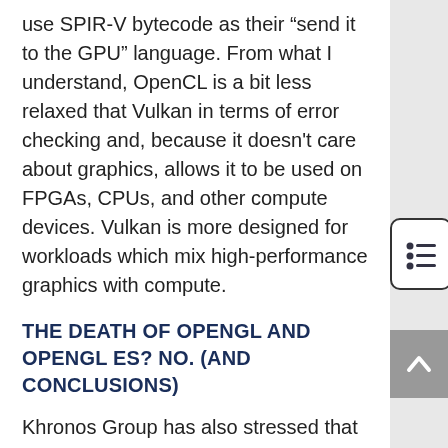use SPIR-V bytecode as their “send it to the GPU” language. From what I understand, OpenCL is a bit less relaxed that Vulkan in terms of error checking and, because it doesn't care about graphics, allows it to be used on FPGAs, CPUs, and other compute devices. Vulkan is more designed for workloads which mix high-performance graphics with compute.
THE DEATH OF OPENGL AND OPENGL ES? NO. (AND CONCLUSIONS)
Khronos Group has also stressed that OpenGL and OpenGL are not going away. Some people will want to write applications on a platform that performs error checking and so forth. These APIs are still important to them, and will